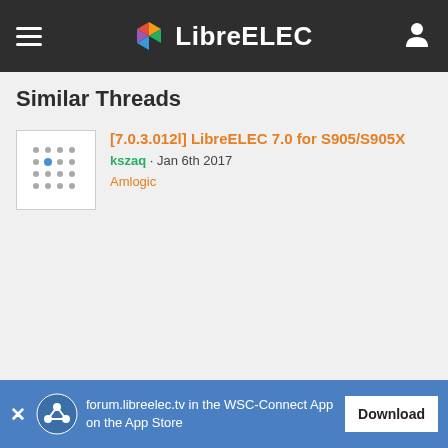LibreELEC
Similar Threads
[7.0.3.012l] LibreELEC 7.0 for S905/S905X
kszaq · Jan 6th 2017
Amlogic
Privacy Policy
Cookie Policy
Contact
forum.libreelec.tv in the WSC-Connect App on the App Store  Download